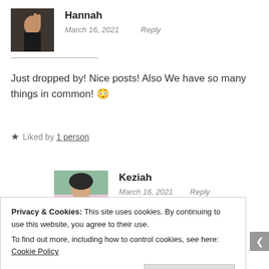[Figure (photo): Avatar photo of Hannah, a person raising their hand near their face, dark tones]
Hannah
March 16, 2021   Reply
Just dropped by! Nice posts! Also We have so many things in common! 😊
★ Liked by 1 person
[Figure (photo): Avatar photo of Keziah, a woman in a pink dress outdoors]
Keziah
March 16, 2021   Reply
Privacy & Cookies: This site uses cookies. By continuing to use this website, you agree to their use.
To find out more, including how to control cookies, see here: Cookie Policy
Close and accept